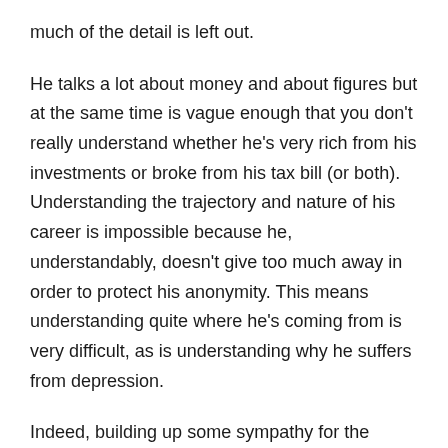much of the detail is left out.
He talks a lot about money and about figures but at the same time is vague enough that you don't really understand whether he's very rich from his investments or broke from his tax bill (or both). Understanding the trajectory and nature of his career is impossible because he, understandably, doesn't give too much away in order to protect his anonymity. This means understanding quite where he's coming from is very difficult, as is understanding why he suffers from depression.
Indeed, building up some sympathy for the writer is almost impossible. He comes over as rather arrogant but I guess that's inevitable with any highly-paid,